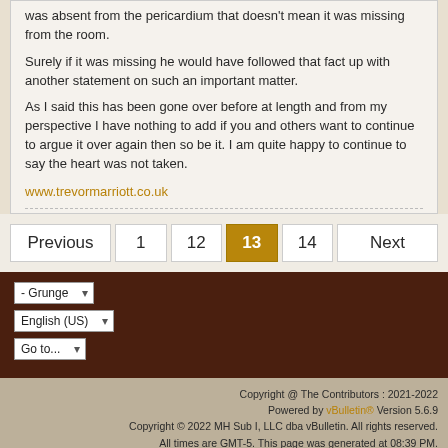was absent from the pericardium that doesn't mean it was missing from the room.
Surely if it was missing he would have followed that fact up with another statement on such an important matter.
As I said this has been gone over before at length and from my perspective I have nothing to add if you and others want to continue to argue it over again then so be it. I am quite happy to continue to say the heart was not taken.
www.trevormarriott.co.uk
Previous | 1 | 12 | 13 | 14 | Next
- Grunge | English (US) | Go to...
Copyright @ The Contributors : 2021-2022 Powered by vBulletin® Version 5.6.9 Copyright © 2022 MH Sub I, LLC dba vBulletin. All rights reserved. All times are GMT-5. This page was generated at 08:39 PM.